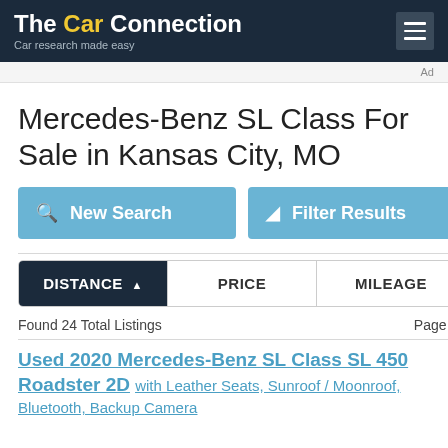The Car Connection — Car research made easy
Ad
Mercedes-Benz SL Class For Sale in Kansas City, MO
New Search | Filter Results
DISTANCE ▲  PRICE  MILEAGE
Found 24 Total Listings  Page : 1
Used 2020 Mercedes-Benz SL Class SL 450 Roadster 2D with Leather Seats, Sunroof / Moonroof, Bluetooth, Backup Camera